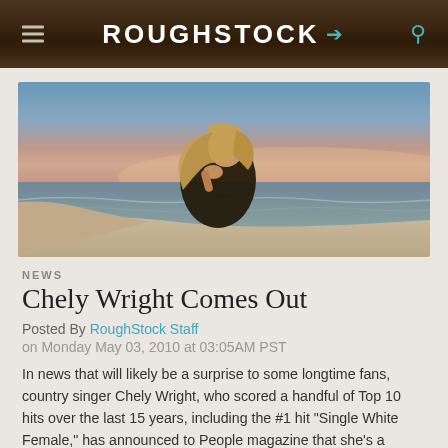ROUGHSTOCK
[Figure (photo): Woman with long blonde hair sitting on a beach at sunset/dusk, resting her chin on her hand, wearing a dark jacket. Ocean waves and a colorful sky in the background.]
NEWS
Chely Wright Comes Out
Posted By RoughStock Staff
on Monday May 03, 2010 at 03:05AM PST
In news that will likely be a surprise to some longtime fans, country singer Chely Wright, who scored a handful of Top 10 hits over the last 15 years, including the #1 hit "Single White Female," has announced to People magazine that she's a lesbian.